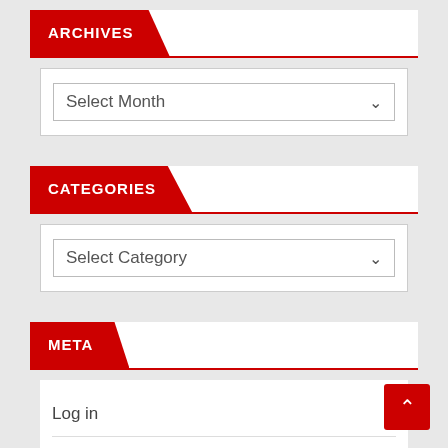ARCHIVES
Select Month
CATEGORIES
Select Category
META
Log in
Entries feed